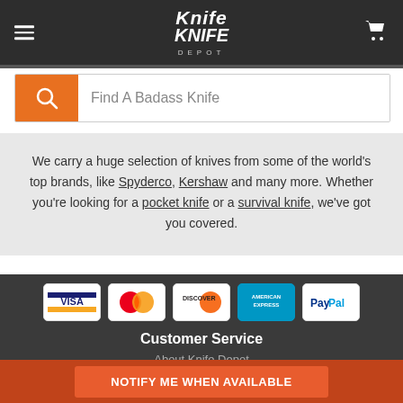Knife Depot
[Figure (screenshot): Search bar with orange magnifying glass icon and placeholder text 'Find A Badass Knife']
We carry a huge selection of knives from some of the world's top brands, like Spyderco, Kershaw and many more. Whether you're looking for a pocket knife or a survival knife, we've got you covered.
[Figure (other): Payment method icons: Visa, Mastercard, Discover, American Express, PayPal]
Customer Service
About Knife Depot
Contact Us
Why Shop with Knife Depot?
NOTIFY ME WHEN AVAILABLE